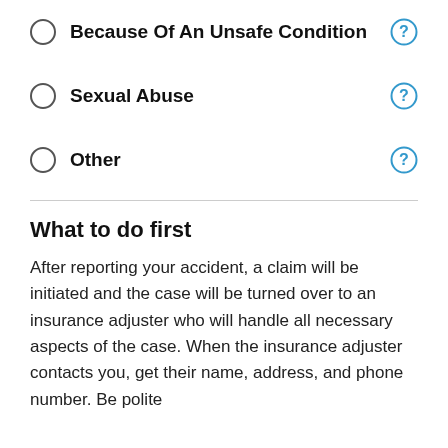Because Of An Unsafe Condition
Sexual Abuse
Other
What to do first
After reporting your accident, a claim will be initiated and the case will be turned over to an insurance adjuster who will handle all necessary aspects of the case. When the insurance adjuster contacts you, get their name, address, and phone number. Be polite